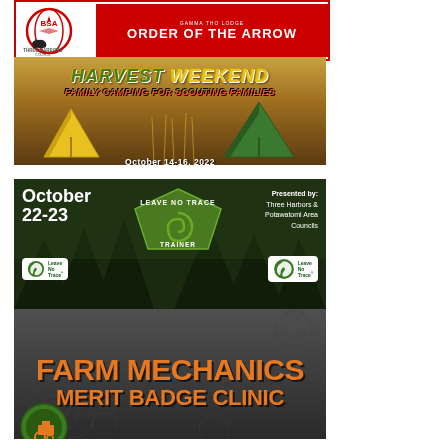[Figure (illustration): Three Harbors Council BSA logo and Gamma Tho Lodge Order of the Arrow banner with red background]
[Figure (illustration): Harvest Weekend Family Camping for Scouting Families banner, October 14-16 2022, with tents and wheat field background]
[Figure (illustration): Leave No Trace Trainer course banner, October 22-23, presented by Three Harbors & Potawatomi Area Councils]
[Figure (illustration): Farm Mechanics Merit Badge Clinic banner with orange text on dark metallic background]